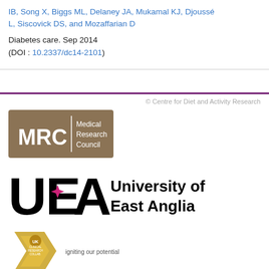IB, Song X, Biggs ML, Delaney JA, Mukamal KJ, Djoussé L, Siscovick DS, and Mozaffarian D
Diabetes care. Sep 2014
(DOI : 10.2337/dc14-2101)
© Centre for Diet and Activity Research
[Figure (logo): MRC Medical Research Council logo — brown/tan rectangle with white text 'MRC' in large font on left, vertical divider, then 'Medical Research Council' in smaller text on right]
[Figure (logo): University of East Anglia logo — UEA monogram in large black letters with a pink star accent, followed by 'University of East Anglia' in large black text]
[Figure (logo): UK Clinical Research Collaboration logo — gold/yellow chevron/arrow shape with small circular emblem and text 'igniting our potential']